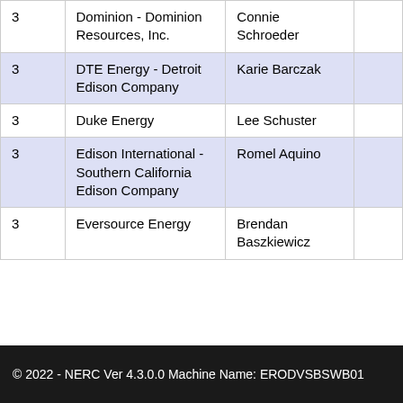|  |  |  |  |
| --- | --- | --- | --- |
| 3 | Dominion - Dominion Resources, Inc. | Connie Schroeder |  |
| 3 | DTE Energy - Detroit Edison Company | Karie Barczak |  |
| 3 | Duke Energy | Lee Schuster |  |
| 3 | Edison International - Southern California Edison Company | Romel Aquino |  |
| 3 | Eversource Energy | Brendan Baszkiewicz |  |
© 2022 - NERC Ver 4.3.0.0 Machine Name: ERODVSBSWB01